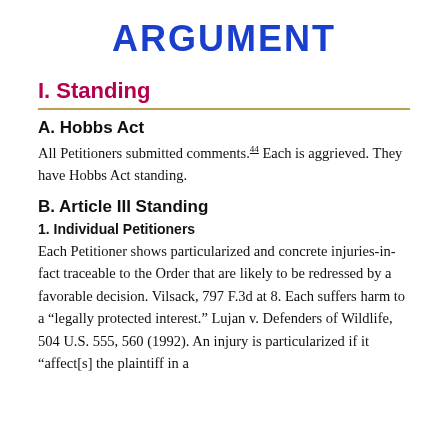ARGUMENT
I. Standing
A. Hobbs Act
All Petitioners submitted comments.44 Each is aggrieved. They have Hobbs Act standing.
B. Article III Standing
1. Individual Petitioners
Each Petitioner shows particularized and concrete injuries-in-fact traceable to the Order that are likely to be redressed by a favorable decision. Vilsack, 797 F.3d at 8. Each suffers harm to a “legally protected interest.” Lujan v. Defenders of Wildlife, 504 U.S. 555, 560 (1992). An injury is particularized if it “affect[s] the plaintiff in a